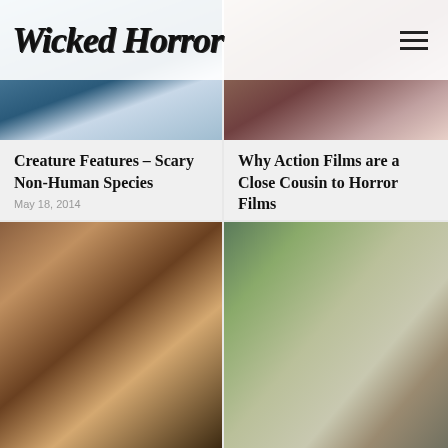Wicked Horror
[Figure (photo): Creature Features article thumbnail - dark sci-fi/horror creature image with blue tones]
Creature Features – Scary Non-Human Species
May 18, 2014
[Figure (photo): Why Action Films article thumbnail - dark figure, warm tones]
Why Action Films are a Close Cousin to Horror Films
February 3, 2016
[Figure (photo): Bottom left article thumbnail - Asian woman reading, warm library tones]
[Figure (photo): Bottom right article thumbnail - sci-fi scene with helmet/dome, outdoor green tones]